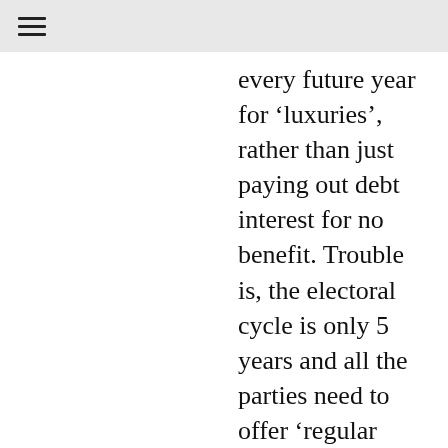every future year for ‘luxuries’, rather than just paying out debt interest for no benefit. Trouble is, the electoral cycle is only 5 years and all the parties need to offer ‘regular sweeties’ to bribe their own target voters, funded by yet more debt, so the cycle